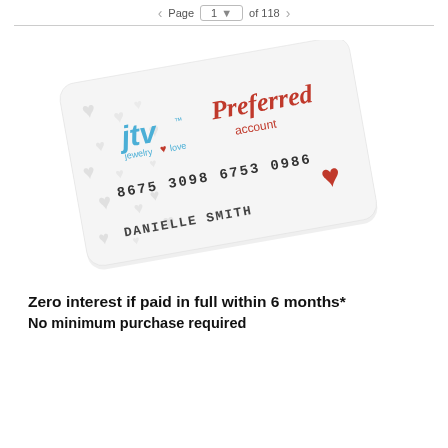Page 1 of 118
[Figure (illustration): JTV Preferred Account credit card tilted at an angle. Shows JTV jewelry love logo in blue, 'Preferred account' in red script, card number 8675 3098 6753 0986, cardholder name DANIELLE SMITH, and a red heart symbol. Card background has subtle heart pattern.]
Zero interest if paid in full within 6 months*
No minimum purchase required